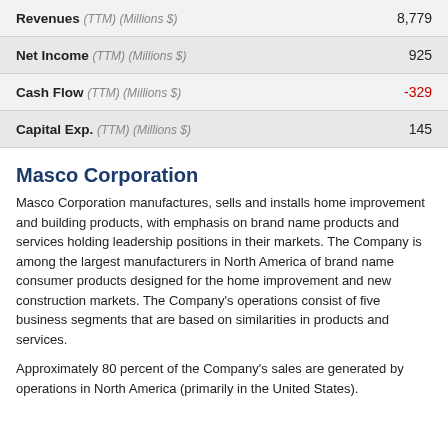| Metric | Value |
| --- | --- |
| Revenues (TTM) (Millions $) | 8,779 |
| Net Income (TTM) (Millions $) | 925 |
| Cash Flow (TTM) (Millions $) | -329 |
| Capital Exp. (TTM) (Millions $) | 145 |
Masco Corporation
Masco Corporation manufactures, sells and installs home improvement and building products, with emphasis on brand name products and services holding leadership positions in their markets. The Company is among the largest manufacturers in North America of brand name consumer products designed for the home improvement and new construction markets. The Company's operations consist of five business segments that are based on similarities in products and services.
Approximately 80 percent of the Company's sales are generated by operations in North America (primarily in the United States).